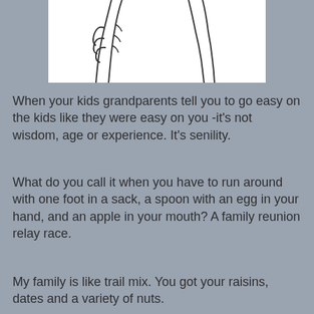[Figure (illustration): Line drawing illustration of hands/figures, partially cropped at top of page]
When your kids grandparents tell you to go easy on the kids like they were easy on you -it's not wisdom, age or experience. It's senility.
What do you call it when you have to run around with one foot in a sack, a spoon with an egg in your hand, and an apple in your mouth? A family reunion relay race.
My family is like trail mix. You got your raisins, dates and a variety of nuts.
The reason grandchildren and grandparents get along so well is that they have a common enemy.